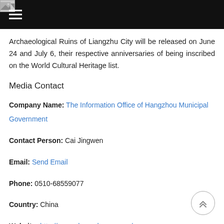[Navigation header with hamburger menu and logo]
Archaeological Ruins of Liangzhu City will be released on June 24 and July 6, their respective anniversaries of being inscribed on the World Cultural Heritage list.
Media Contact
Company Name: The Information Office of Hangzhou Municipal Government
Contact Person: Cai Jingwen
Email: Send Email
Phone: 0510-68559077
Country: China
Website: http://www.ehangzhou.gov.cn/